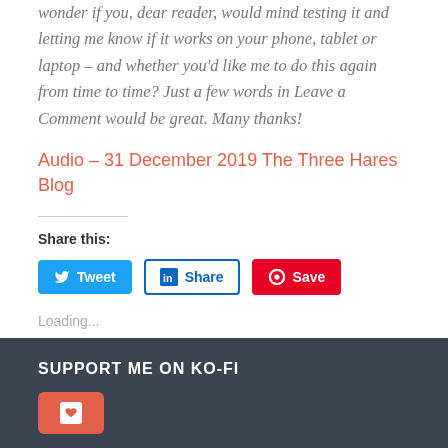wonder if you, dear reader, would mind testing it and letting me know if it works on your phone, tablet or laptop – and whether you'd like me to do this again from time to time? Just a few words in Leave a Comment would be great. Many thanks!
Audio – 31 December 2019 The Three Hares Blog
Share this:
[Figure (other): Social sharing buttons: Tweet (Twitter/blue), Share (LinkedIn/outlined), Save (Pinterest/red)]
Loading...
SUPPORT ME ON KO-FI